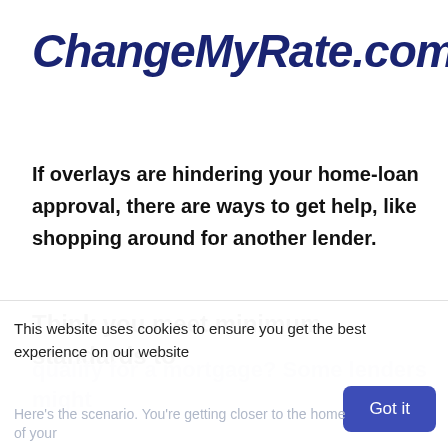ChangeMyRate.com®
If overlays are hindering your home-loan approval, there are ways to get help, like shopping around for another lender.
Think you meet minimum standards to qualify for a mortgage? Some lenders might
This website uses cookies to ensure you get the best experience on our website
Got it
Here's the scenario. You're getting closer to the home of your